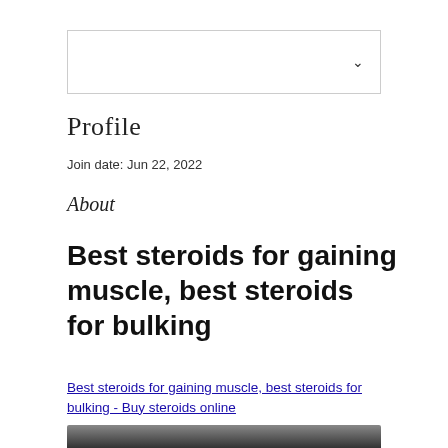[Figure (other): Dropdown/select box UI element with chevron arrow on right side]
Profile
Join date: Jun 22, 2022
About
Best steroids for gaining muscle, best steroids for bulking
Best steroids for gaining muscle, best steroids for bulking - Buy steroids online
[Figure (photo): Partial image visible at bottom of page, dark/blurred]